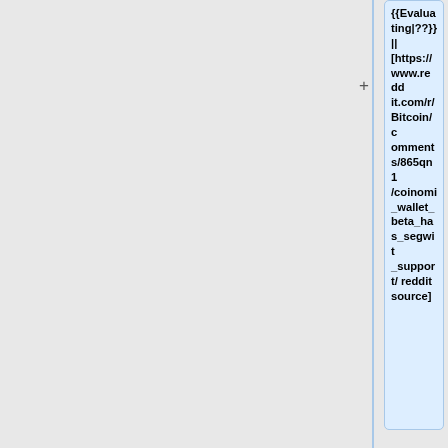{{Evaluating|??}} || [https://www.reddit.com/r/Bitcoin/comments/865qn1/coinomi_wallet_beta_has_segwit_support/ reddit source]
|-
| Electrum || {{Yes}} || {{Yes}} || {{Yes|Since 4.1.0}} || {{Planned|Planned: Descriptor-based keypath spends}} || https://github.com/spesmilo/electrum/issues/7